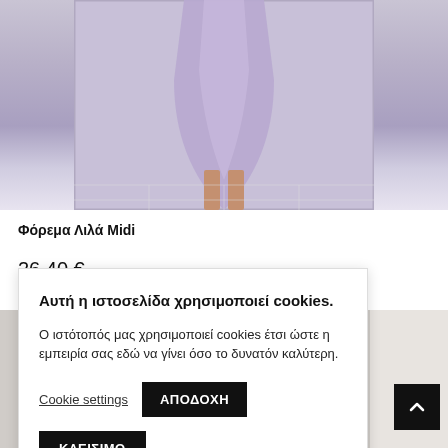[Figure (photo): Top portion of a person wearing a lilac/purple midi dress, taken in a mirror selfie. The lower legs and dress hem are visible against a tiled floor background.]
Φόρεμα Λιλά Midi
26,40 €
Αυτή η ιστοσελίδα χρησιμοποιεί cookies.

Ο ιστότοπός μας χρησιμοποιεί cookies έτσι ώστε η εμπειρία σας εδώ να γίνει όσο το δυνατόν καλύτερη.

Cookie settings  ΑΠΟΔΟΧΗ

ΚΛΕΙΣΙΜΟ
[Figure (photo): Bottom portion of a product photo showing a person wearing dark clothing, partially visible at the bottom of the page.]